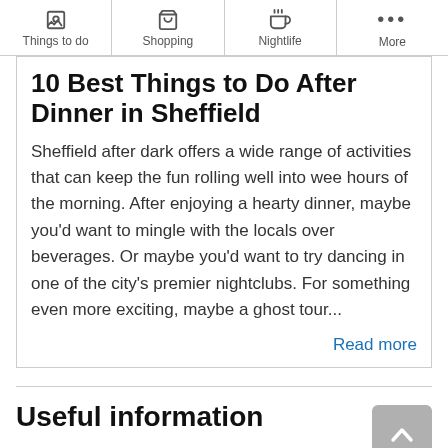Things to do | Shopping | Nightlife | More
10 Best Things to Do After Dinner in Sheffield
Sheffield after dark offers a wide range of activities that can keep the fun rolling well into wee hours of the morning. After enjoying a hearty dinner, maybe you'd want to mingle with the locals over beverages. Or maybe you'd want to try dancing in one of the city's premier nightclubs. For something even more exciting, maybe a ghost tour...
Read more
Useful information